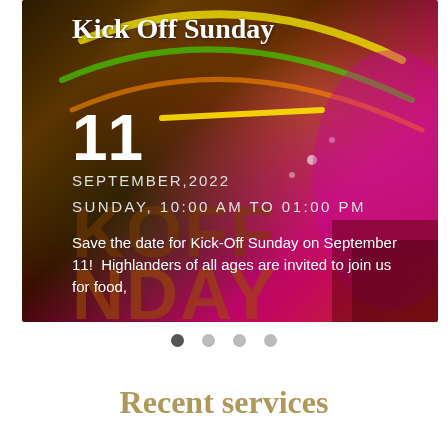[Figure (photo): Kick Off Sunday event flyer image with colorful abstract swirling background in green, yellow, orange, magenta, and red colors. Large watermark text KOFF and NDAY visible. White text overlay with event details.]
Kick Off Sunday
11
SEPTEMBER,2022
SUNDAY, 10:00 AM TO 01:00 PM
Save the date for Kick-Off Sunday on September 11! Highlanders of all ages are invited to join us for food,
● ○ ○ ○
Recent services